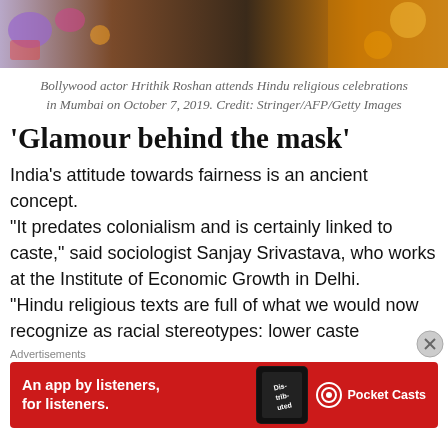[Figure (photo): Cropped photo strip showing Bollywood actor Hrithik Roshan at Hindu religious celebrations; colorful clothing and golden decorations visible]
Bollywood actor Hrithik Roshan attends Hindu religious celebrations in Mumbai on October 7, 2019. Credit: Stringer/AFP/Getty Images
‘Glamour behind the mask’
India’s attitude towards fairness is an ancient concept.
“It predates colonialism and is certainly linked to caste,” said sociologist Sanjay Srivastava, who works at the Institute of Economic Growth in Delhi.
“Hindu religious texts are full of what we would now recognize as racial stereotypes: lower caste
Advertisements
[Figure (other): Red advertisement banner for Pocket Casts app: 'An app by listeners, for listeners.' with phone image and Pocket Casts logo]